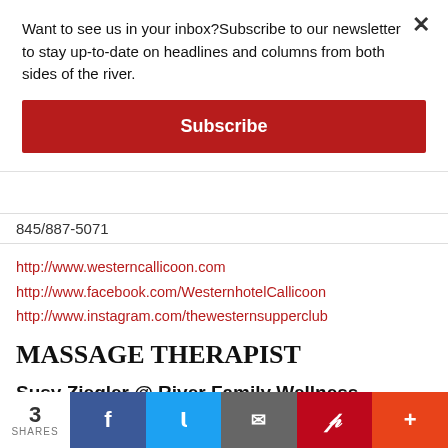Want to see us in your inbox?Subscribe to our newsletter to stay up-to-date on headlines and columns from both sides of the river.
Subscribe
845/887-5071
http://www.westerncallicoon.com
http://www.facebook.com/WesternhotelCallicoon
http://www.instagram.com/thewesternsupperclub
MASSAGE THERAPIST
Susy Ziegler @ River Family Wellness
20 Gregory Street
Callicoon, NY 12723
3 SHARES